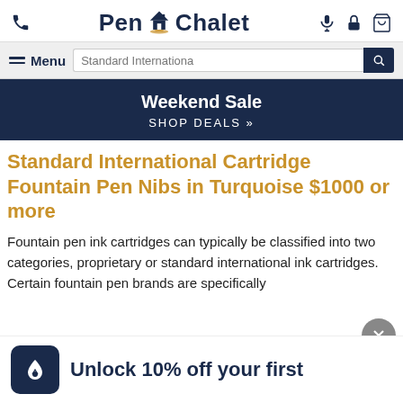Pen Chalet
Weekend Sale — SHOP DEALS »
Standard International Cartridge Fountain Pen Nibs in Turquoise $1000 or more
Fountain pen ink cartridges can typically be classified into two categories, proprietary or standard international ink cartridges. Certain fountain pen brands are specifically
Unlock 10% off your first